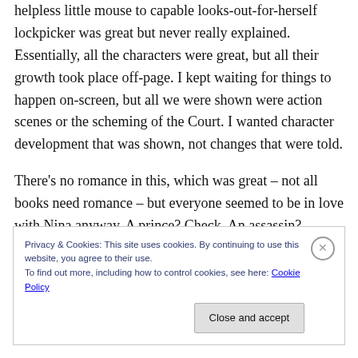helpless little mouse to capable looks-out-for-herself lockpicker was great but never really explained. Essentially, all the characters were great, but all their growth took place off-page. I kept waiting for things to happen on-screen, but all we were shown were action scenes or the scheming of the Court. I wanted character development that was shown, not changes that were told.
There's no romance in this, which was great – not all books need romance – but everyone seemed to be in love with Nina anyway. A prince? Check. An assassin? Check.
Privacy & Cookies: This site uses cookies. By continuing to use this website, you agree to their use.
To find out more, including how to control cookies, see here: Cookie Policy